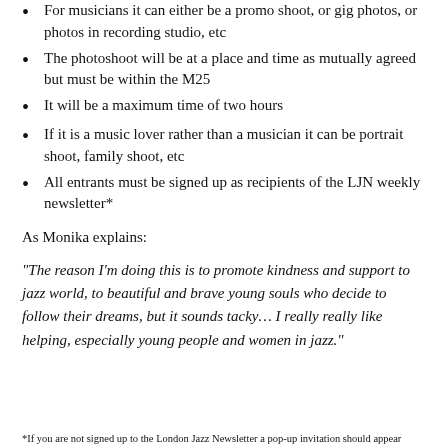For musicians it can either be a promo shoot, or gig photos, or photos in recording studio, etc
The photoshoot will be at a place and time as mutually agreed but must be within the M25
It will be a maximum time of two hours
If it is a music lover rather than a musician it can be portrait shoot, family shoot, etc
All entrants must be signed up as recipients of the LJN weekly newsletter*
As Monika explains:
“The reason I’m doing this is to promote kindness and support to jazz world, to beautiful and brave young souls who decide to follow their dreams, but it sounds tacky… I really really like helping, especially young people and women in jazz.”
*If you are not signed up to the London Jazz Newsletter a pop-up invitation should appear